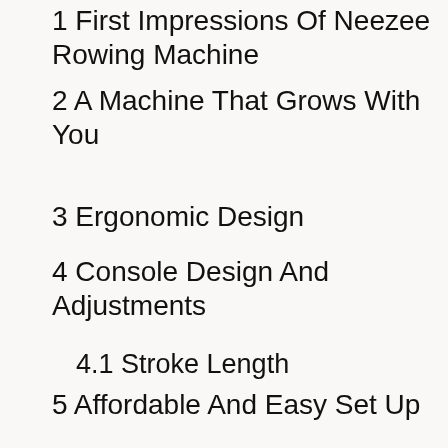1 First Impressions Of Neezee Rowing Machine
2 A Machine That Grows With You
3 Ergonomic Design
4 Console Design And Adjustments
4.1 Stroke Length
5 Affordable And Easy Set Up
6 Quiet Workouts
6.1 Low Impact Workout